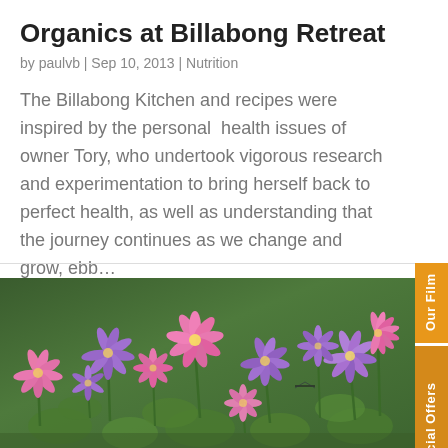Organics at Billabong Retreat
by paulvb | Sep 10, 2013 | Nutrition
The Billabong Kitchen and recipes were inspired by the personal  health issues of owner Tory, who undertook vigorous research and experimentation to bring herself back to perfect health, as well as understanding that the journey continues as we change and grow, ebb…
[Figure (photo): Photograph of pink and purple water lily flowers blooming on lily pads in a pond with green foliage.]